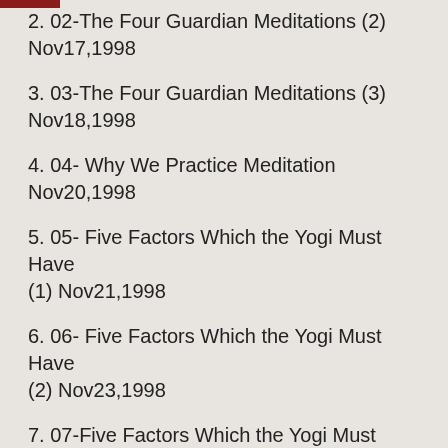2. 02-The Four Guardian Meditations (2) Nov17,1998
3. 03-The Four Guardian Meditations (3) Nov18,1998
4. 04- Why We Practice Meditation Nov20,1998
5. 05- Five Factors Which the Yogi Must Have (1) Nov21,1998
6. 06- Five Factors Which the Yogi Must Have (2) Nov23,1998
7. 07-Five Factors Which the Yogi Must Have (3) Nov24,1998